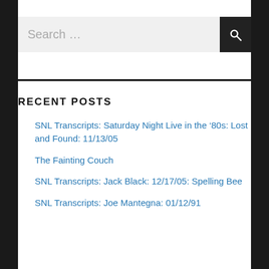[Figure (screenshot): Search input box with placeholder text 'Search …' and a dark search button]
RECENT POSTS
SNL Transcripts: Saturday Night Live in the '80s: Lost and Found: 11/13/05
The Fainting Couch
SNL Transcripts: Jack Black: 12/17/05: Spelling Bee
SNL Transcripts: Joe Mantegna: 01/12/91